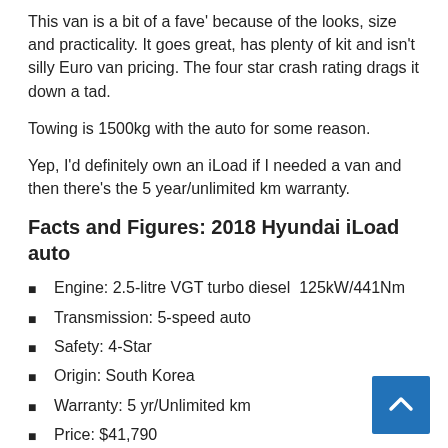This van is a bit of a fave' because of the looks, size and practicality. It goes great, has plenty of kit and isn't silly Euro van pricing. The four star crash rating drags it down a tad.
Towing is 1500kg with the auto for some reason.
Yep, I'd definitely own an iLoad if I needed a van and then there's the 5 year/unlimited km warranty.
Facts and Figures: 2018 Hyundai iLoad auto
Engine: 2.5-litre VGT turbo diesel  125kW/441Nm
Transmission: 5-speed auto
Safety: 4-Star
Origin: South Korea
Warranty: 5 yr/Unlimited km
Price: $41,790